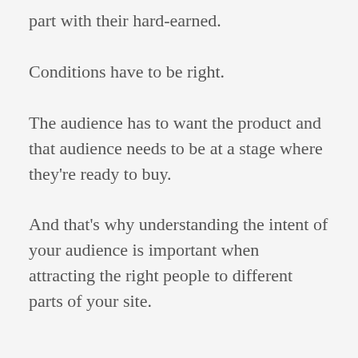part with their hard-earned.
Conditions have to be right.
The audience has to want the product and that audience needs to be at a stage where they're ready to buy.
And that's why understanding the intent of your audience is important when attracting the right people to different parts of your site.